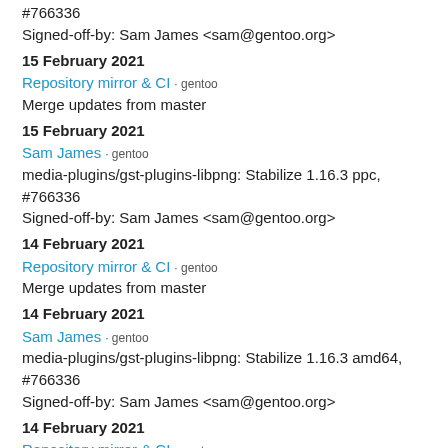#766336
Signed-off-by: Sam James <sam@gentoo.org>
15 February 2021
Repository mirror & CI · gentoo
Merge updates from master
15 February 2021
Sam James · gentoo
media-plugins/gst-plugins-libpng: Stabilize 1.16.3 ppc, #766336
Signed-off-by: Sam James <sam@gentoo.org>
14 February 2021
Repository mirror & CI · gentoo
Merge updates from master
14 February 2021
Sam James · gentoo
media-plugins/gst-plugins-libpng: Stabilize 1.16.3 amd64, #766336
Signed-off-by: Sam James <sam@gentoo.org>
14 February 2021
Repository mirror & CI · gentoo
Merge updates from master
14 February 2021
Sam James · gentoo
media-plugins/gst-plugins-libpng: Stabilize 1.16.3 …, #766336